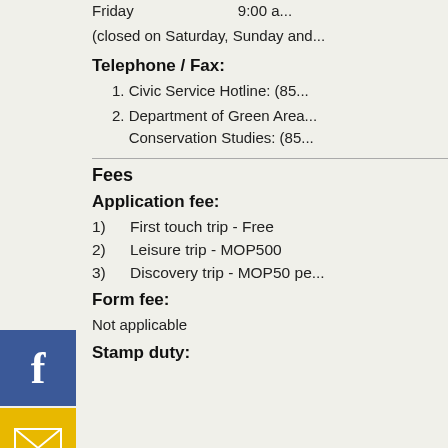Friday  9:00 a...
(closed on Saturday, Sunday and...
Telephone / Fax:
1. Civic Service Hotline: (85...
2. Department of Green Area... Conservation Studies: (85...
Fees
Application fee:
1)  First touch trip - Free
2)  Leisure trip - MOP500
3)  Discovery trip - MOP50 pe...
Form fee:
Not applicable
Stamp duty: